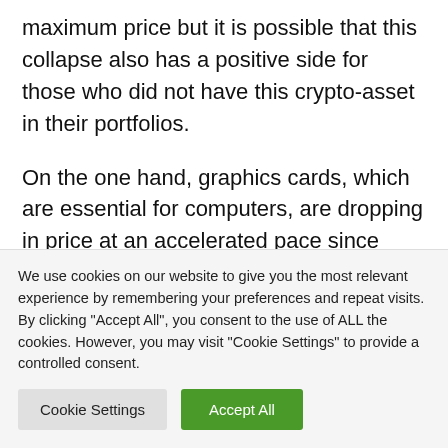maximum price but it is possible that this collapse also has a positive side for those who did not have this crypto-asset in their portfolios.
On the one hand, graphics cards, which are essential for computers, are dropping in price at an accelerated pace since their chips were massively used by cryptocurrency miners due to their incredible numerical calculation capabilities. Right
We use cookies on our website to give you the most relevant experience by remembering your preferences and repeat visits. By clicking "Accept All", you consent to the use of ALL the cookies. However, you may visit "Cookie Settings" to provide a controlled consent.